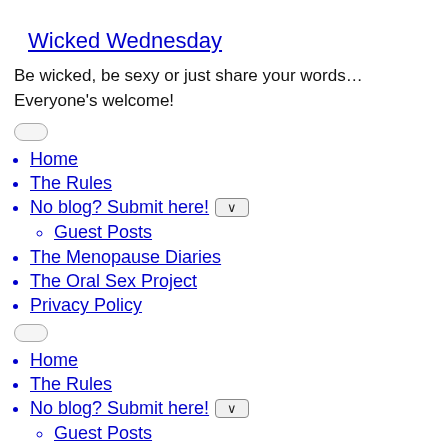Wicked Wednesday
Be wicked, be sexy or just share your words… Everyone's welcome!
Home
The Rules
No blog? Submit here!
Guest Posts
The Menopause Diaries
The Oral Sex Project
Privacy Policy
Home
The Rules
No blog? Submit here!
Guest Posts
The Menopause Diaries
The Oral Sex Project
Privacy Policy